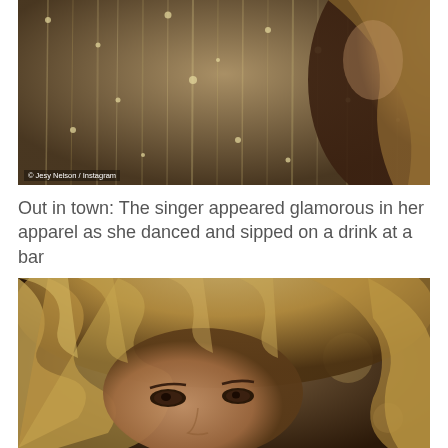[Figure (photo): Close-up photo of a person with curly blonde hair against a shimmering sequined curtain background, taken at a bar. Photo credit: Jesy Nelson / Instagram]
Out in town: The singer appeared glamorous in her apparel as she danced and sipped on a drink at a bar
[Figure (photo): Close-up photo of a woman with curly blonde hair and dramatic eye makeup, blurred background suggesting a bar setting.]